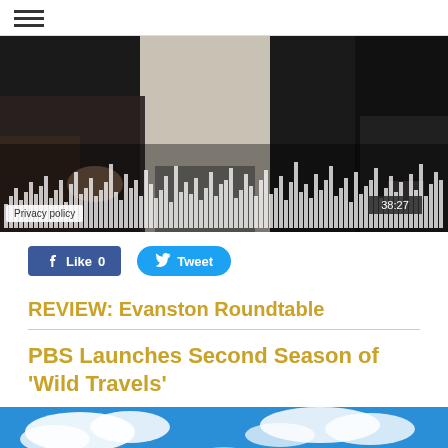☰ (hamburger menu icon)
[Figure (screenshot): Audio player with waveform visualization showing bars of varying heights, timestamp 38:27 in bottom right, Privacy policy badge in bottom left, dark background with figures of people visible]
👍 Like 0
🐦 Tweet
REVIEW: Evanston Roundtable
PBS Launches Second Season of 'Wild Travels'
[Figure (photo): Partial bottom image showing blue sky with clouds, and a circular logo or object visible at bottom of page]